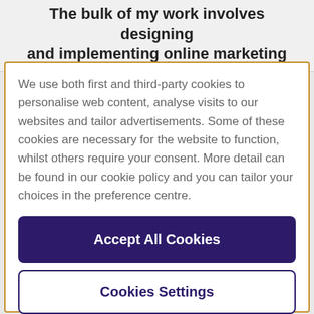The bulk of my work involves designing and implementing online marketing
We use both first and third-party cookies to personalise web content, analyse visits to our websites and tailor advertisements. Some of these cookies are necessary for the website to function, whilst others require your consent. More detail can be found in our cookie policy and you can tailor your choices in the preference centre.
Accept All Cookies
Cookies Settings